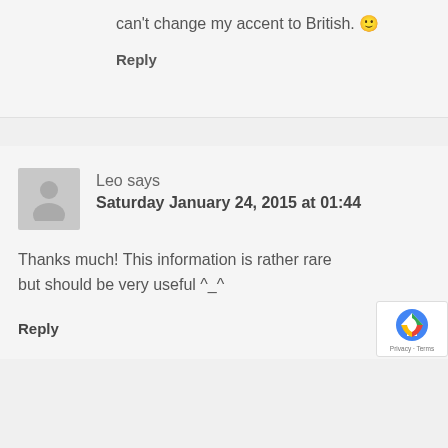can't change my accent to British. 🙂
Reply
Leo says
Saturday January 24, 2015 at 01:44
Thanks much! This information is rather rare but should be very useful ^_^
Reply